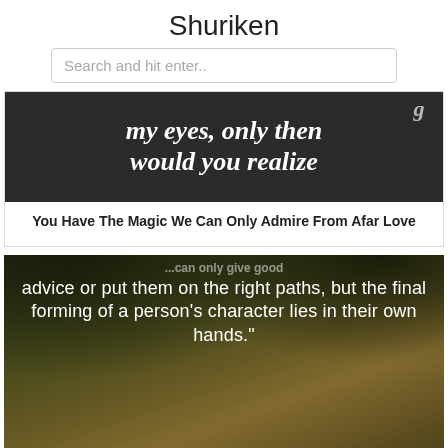Shuriken
Search and hit enter..
[Figure (photo): Dark background image with white serif bold italic text reading 'my eyes, only then would you realize' (partially cropped at top)]
You Have The Magic We Can Only Admire From Afar Love
[Figure (photo): Forest path background image with white sans-serif text reading: '...can only give good advice or put them on the right paths, but the final forming of a person's character lies in their own hands.' (partially cropped at top and bottom)]